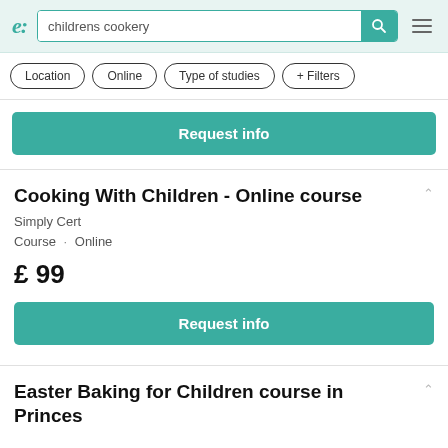e: childrens cookery [search bar with search button and menu icon]
Location
Online
Type of studies
+ Filters
Request info
Cooking With Children - Online course
Simply Cert
Course · Online
£ 99
Request info
Easter Baking for Children course in Princes